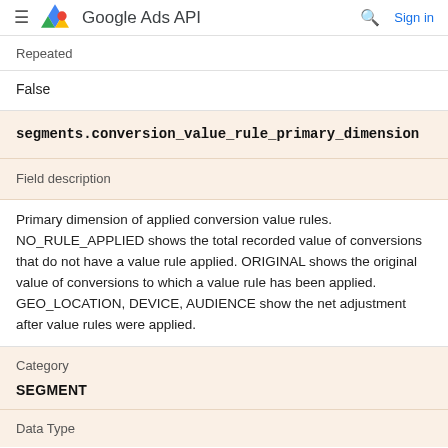Google Ads API
Repeated
False
segments.conversion_value_rule_primary_dimension
Field description
Primary dimension of applied conversion value rules. NO_RULE_APPLIED shows the total recorded value of conversions that do not have a value rule applied. ORIGINAL shows the original value of conversions to which a value rule has been applied. GEO_LOCATION, DEVICE, AUDIENCE show the net adjustment after value rules were applied.
Category
SEGMENT
Data Type